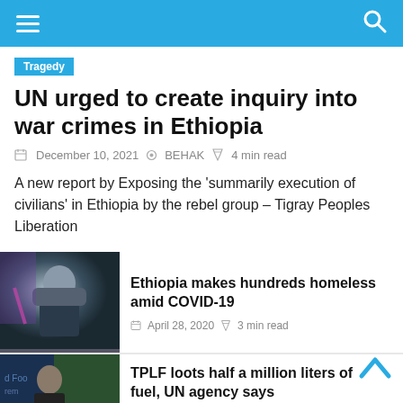Navigation header with hamburger menu and search icon
UN urged to create inquiry into war crimes in Ethiopia
December 10, 2021   BEHAK   4 min read
A new report by Exposing the ‘summarily execution of civilians’ in Ethiopia by the rebel group – Tigray Peoples Liberation
[Figure (photo): Portrait photo of a man in a dark suit against a colorful background]
Ethiopia makes hundreds homeless amid COVID-19
April 28, 2020   3 min read
[Figure (photo): Portrait photo of an older man at a podium or press conference]
TPLF loots half a million liters of fuel, UN agency says
August 25, 2022   1 min read